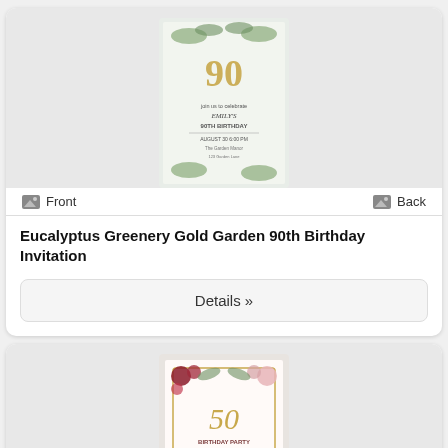[Figure (illustration): Front view of Eucalyptus Greenery Gold Garden 90th Birthday Invitation - showing '90' in gold script with greenery botanical border on light background]
Front
Back
Eucalyptus Greenery Gold Garden 90th Birthday Invitation
Details »
[Figure (illustration): Front view of a 50th Birthday Party invitation with burgundy and blush floral design, gold script text, and decorative gold frame border]